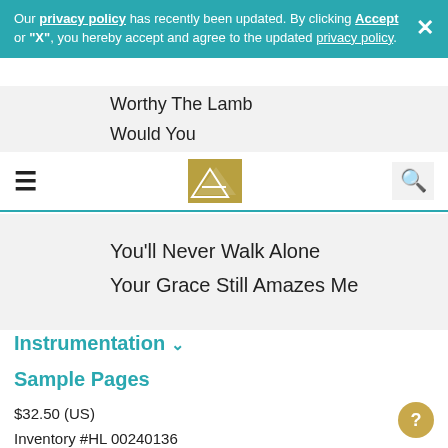Our privacy policy has recently been updated. By clicking Accept or "X", you hereby accept and agree to the updated privacy policy.
Worthy The Lamb
Would You
You'll Never Walk Alone
Your Grace Still Amazes Me
Instrumentation
Sample Pages
$32.50 (US)
Inventory #HL 00240136
ISBN: 9780634004247
UPC: 073999437188
Width: 9.0"
Length: 12.0"